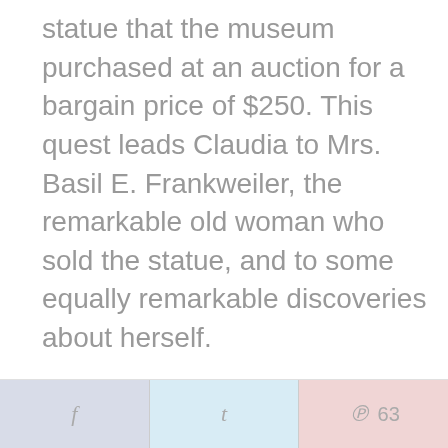statue that the museum purchased at an auction for a bargain price of $250. This quest leads Claudia to Mrs. Basil E. Frankweiler, the remarkable old woman who sold the statue, and to some equally remarkable discoveries about herself.
f | t | ℗ 63